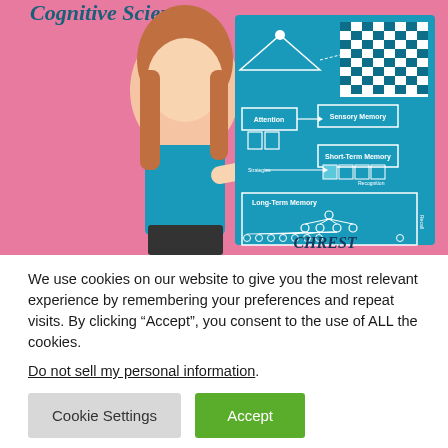[Figure (photo): A woman in a blue top holding a teal poster about Cognitive Science, showing a memory model diagram with Attention, Sensory Memory, Short-Term Memory, and Long-Term Memory sections, and a chessboard image at top right. The word CHREST appears at the bottom of the poster. Background is pink. The title 'Cognitive Science' appears at top left in script font.]
We use cookies on our website to give you the most relevant experience by remembering your preferences and repeat visits. By clicking “Accept”, you consent to the use of ALL the cookies.
Do not sell my personal information.